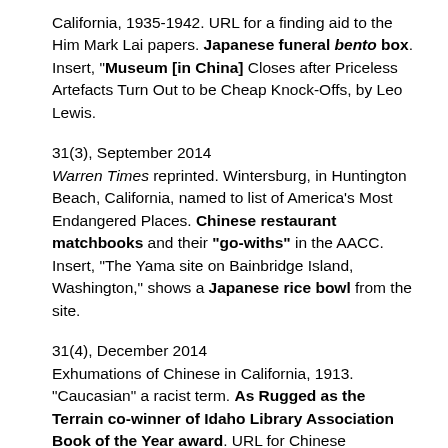California, 1935-1942. URL for a finding aid to the Him Mark Lai papers. Japanese funeral bento box. Insert, "Museum [in China] Closes after Priceless Artefacts Turn Out to be Cheap Knock-Offs, by Leo Lewis.
31(3), September 2014
Warren Times reprinted. Wintersburg, in Huntington Beach, California, named to list of America's Most Endangered Places. Chinese restaurant matchbooks and their "go-withs" in the AACC. Insert, "The Yama site on Bainbridge Island, Washington," shows a Japanese rice bowl from the site.
31(4), December 2014
Exhumations of Chinese in California, 1913.
"Caucasian" a racist term. As Rugged as the Terrain co-winner of Idaho Library Association Book of the Year award. URL for Chinese weatherman Gin Chow.